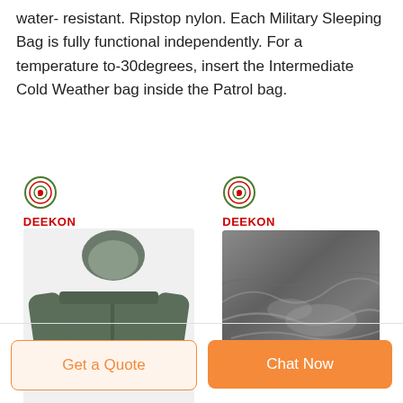water- resistant. Ripstop nylon. Each Military Sleeping Bag is fully functional independently. For a temperature to-30degrees, insert the Intermediate Cold Weather bag inside the Patrol bag.
[Figure (photo): DEEKON logo with target/crosshair icon and a military olive green jacket with hood]
[Figure (photo): DEEKON logo with target/crosshair icon and close-up of dark grey fabric texture]
Get a Quote
Chat Now